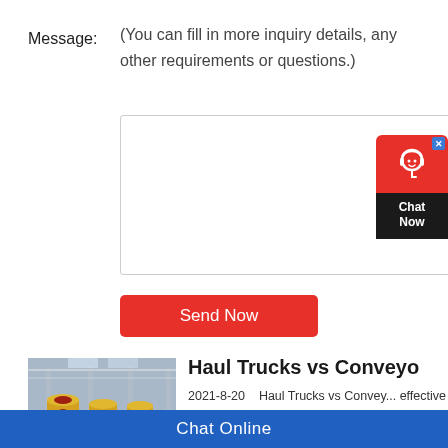Message:
(You can fill in more inquiry details, any other requirements or questions.)
Send Now
[Figure (photo): Industrial factory interior showing large yellow cylindrical machinery/ball mills on the floor with structural steel columns in background]
Haul Trucks vs Conveyo
2021-8-20   Haul Trucks vs Convey... effective material transportation ano can vary from a trickle of material ah hour. Economically Smart: Reduce r
Chat Now
Chat Online